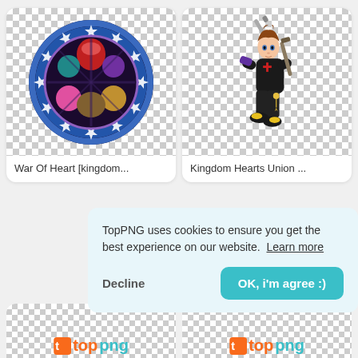[Figure (illustration): Stained glass circular medallion with Kingdom Hearts characters and blue border with stars - War Of Heart image card]
War Of Heart [kingdom...
[Figure (illustration): Kingdom Hearts Sora character holding Keyblade weapon in black outfit - transparent PNG on checkerboard background]
Kingdom Hearts Union ...
TopPNG uses cookies to ensure you get the best experience on our website.  Learn more
Decline
OK, i'm agree :)
[Figure (logo): TopPNG logo - orange icon with 'top' in orange and 'png' in teal]
[Figure (logo): TopPNG logo - orange icon with 'top' in orange and 'png' in teal]